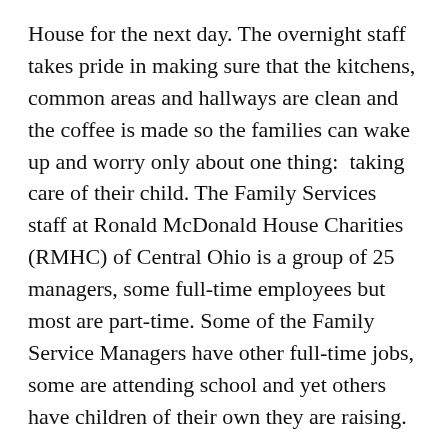House for the next day. The overnight staff takes pride in making sure that the kitchens, common areas and hallways are clean and the coffee is made so the families can wake up and worry only about one thing:  taking care of their child. The Family Services staff at Ronald McDonald House Charities (RMHC) of Central Ohio is a group of 25 managers, some full-time employees but most are part-time. Some of the Family Service Managers have other full-time jobs, some are attending school and yet others have children of their own they are raising.
Family Service Managers (FSMs) check families in and out. When checking families in, FSMs make sure the families know the rules of the House, where all the amenities are located as well as offer emotional support to families who are going through perhaps